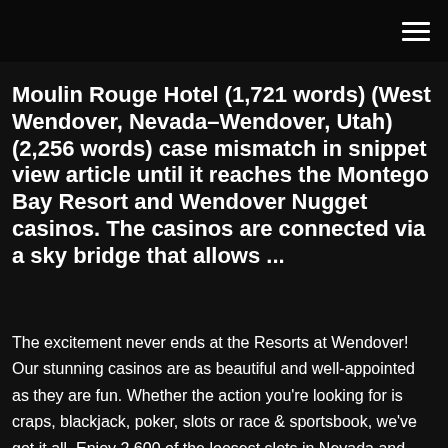Moulin Rouge Hotel (1,721 words) (West Wendover, Nevada–Wendover, Utah) (2,256 words) case mismatch in snippet view article until it reaches the Montego Bay Resort and Wendover Nugget casinos. The casinos are connected via a sky bridge that allows ...
The excitement never ends at the Resorts at Wendover! Our stunning casinos are as beautiful and well-appointed as they are fun. Whether the action you're looking for is craps, blackjack, poker, slots or race & sportsbook, we've got it all. Enjoy 2,600 of the loosest slots in Nevada and over 80 exciting table games. Best Casino Hotels in West Wendover